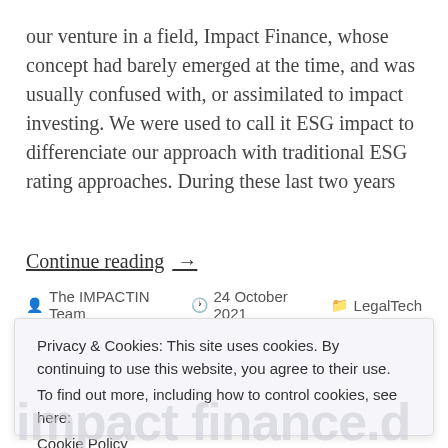our venture in a field, Impact Finance, whose concept had barely emerged at the time, and was usually confused with, or assimilated to impact investing. We were used to call it ESG impact to differenciate our approach with traditional ESG rating approaches. During these last two years
Continue reading →
The IMPACTIN Team   24 October 2021   LegalTech
Privacy & Cookies: This site uses cookies. By continuing to use this website, you agree to their use.
To find out more, including how to control cookies, see here:
Cookie Policy
Close and accept